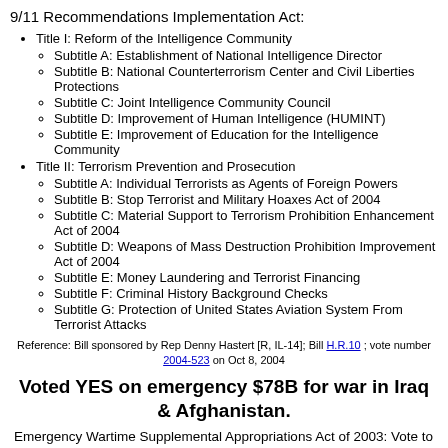9/11 Recommendations Implementation Act:
Title I: Reform of the Intelligence Community
Subtitle A: Establishment of National Intelligence Director
Subtitle B: National Counterterrorism Center and Civil Liberties Protections
Subtitle C: Joint Intelligence Community Council
Subtitle D: Improvement of Human Intelligence (HUMINT)
Subtitle E: Improvement of Education for the Intelligence Community
Title II: Terrorism Prevention and Prosecution
Subtitle A: Individual Terrorists as Agents of Foreign Powers
Subtitle B: Stop Terrorist and Military Hoaxes Act of 2004
Subtitle C: Material Support to Terrorism Prohibition Enhancement Act of 2004
Subtitle D: Weapons of Mass Destruction Prohibition Improvement Act of 2004
Subtitle E: Money Laundering and Terrorist Financing
Subtitle F: Criminal History Background Checks
Subtitle G: Protection of United States Aviation System From Terrorist Attacks
Reference: Bill sponsored by Rep Denny Hastert [R, IL-14]; Bill H.R.10 ; vote number 2004-523 on Oct 8, 2004
Voted YES on emergency $78B for war in Iraq & Afghanistan.
Emergency Wartime Supplemental Appropriations Act of 2003: Vote to pass the bill that would supply $77.9 billion in emergency